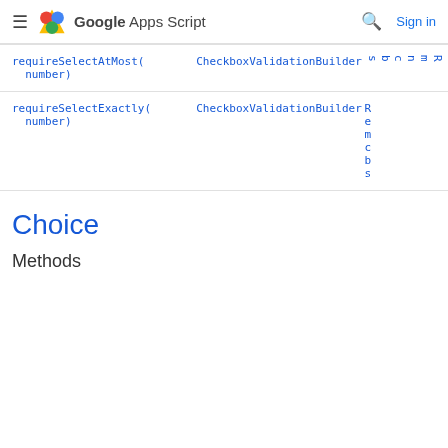Google Apps Script
| Method | Return type | Description |
| --- | --- | --- |
| requireSelectAtMost(number) | CheckboxValidationBuilder | R m n c b s |
| requireSelectExactly(number) | CheckboxValidationBuilder | R e m c b s |
Choice
Methods